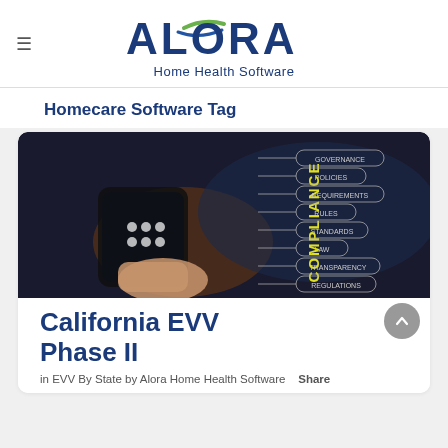ALORA Home Health Software
Homecare Software Tag
[Figure (photo): A hand holding a smartphone with a compliance diagram showing: GOVERNANCE, POLICIES, REQUIREMENTS, RULES, STANDARDS, LAW, TRANSPARENCY, REGULATIONS — with the word COMPLIANCE written vertically in yellow]
California EVV Phase II
in EVV By State by Alora Home Health Software   Share